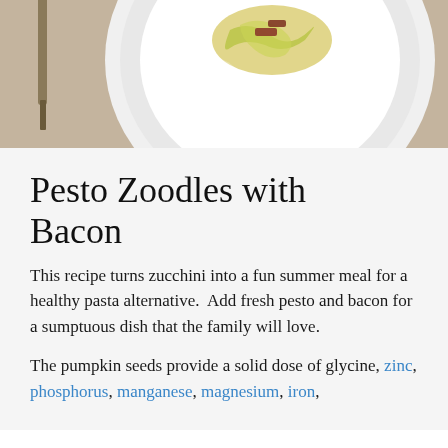[Figure (photo): Overhead photo of a white plate with pesto zoodles and bacon, with a knife visible on the left side, on a beige/tan table surface.]
Pesto Zoodles with Bacon
This recipe turns zucchini into a fun summer meal for a healthy pasta alternative.  Add fresh pesto and bacon for a sumptuous dish that the family will love.
The pumpkin seeds provide a solid dose of glycine, zinc, phosphorus, manganese, magnesium, iron,